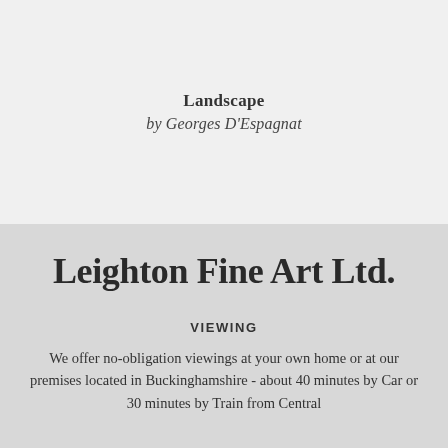Landscape
by Georges D'Espagnat
Leighton Fine Art Ltd.
VIEWING
We offer no-obligation viewings at your own home or at our premises located in Buckinghamshire - about 40 minutes by Car or 30 minutes by Train from Central